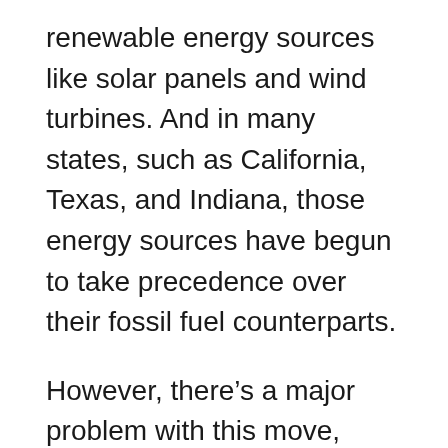renewable energy sources like solar panels and wind turbines. And in many states, such as California, Texas, and Indiana, those energy sources have begun to take precedence over their fossil fuel counterparts.
However, there's a major problem with this move, experts say. And it could cause millions to be without power this summer as temperatures rise.
According to a recent report by Bloomberg, “At least a dozen US states from California to the Great Lakes are at risk of electricity outages this